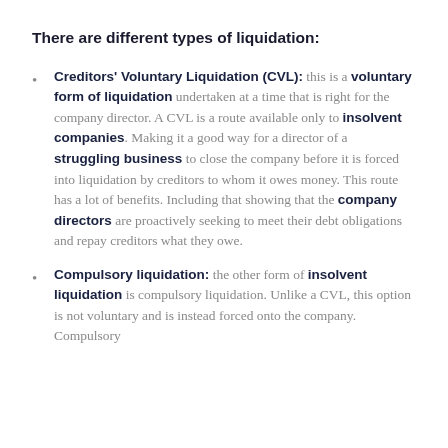There are different types of liquidation:
Creditors' Voluntary Liquidation (CVL): this is a voluntary form of liquidation undertaken at a time that is right for the company director. A CVL is a route available only to insolvent companies. Making it a good way for a director of a struggling business to close the company before it is forced into liquidation by creditors to whom it owes money. This route has a lot of benefits. Including that showing that the company directors are proactively seeking to meet their debt obligations and repay creditors what they owe.
Compulsory liquidation: the other form of insolvent liquidation is compulsory liquidation. Unlike a CVL, this option is not voluntary and is instead forced onto the company. Compulsory